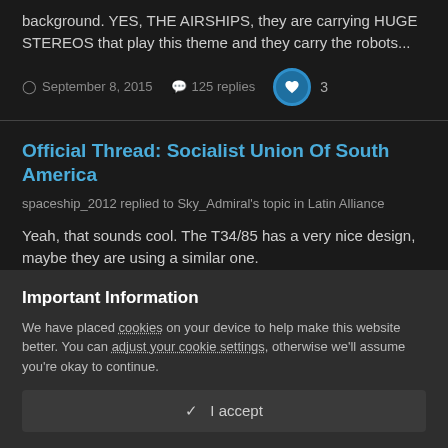background. YES, THE AIRSHIPS, they are carrying HUGE STEREOS that play this theme and they carry the robots...
September 8, 2015  125 replies  3
Official Thread: Socialist Union Of South America
spaceship_2012 replied to Sky_Admiral's topic in Latin Alliance
Yeah, that sounds cool. The T34/85 has a very nice design, maybe they are using a similar one.
September 7, 2015  157 replies
Important Information
We have placed cookies on your device to help make this website better. You can adjust your cookie settings, otherwise we'll assume you're okay to continue.
✓  I accept